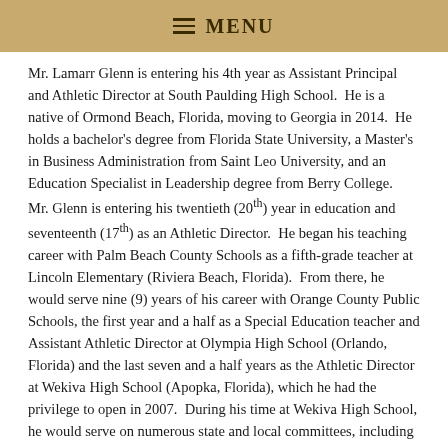≡ MENU
Mr. Lamarr Glenn is entering his 4th year as Assistant Principal and Athletic Director at South Paulding High School. He is a native of Ormond Beach, Florida, moving to Georgia in 2014. He holds a bachelor's degree from Florida State University, a Master's in Business Administration from Saint Leo University, and an Education Specialist in Leadership degree from Berry College. Mr. Glenn is entering his twentieth (20th) year in education and seventeenth (17th) as an Athletic Director. He began his teaching career with Palm Beach County Schools as a fifth-grade teacher at Lincoln Elementary (Riviera Beach, Florida). From there, he would serve nine (9) years of his career with Orange County Public Schools, the first year and a half as a Special Education teacher and Assistant Athletic Director at Olympia High School (Orlando, Florida) and the last seven and a half years as the Athletic Director at Wekiva High School (Apopka, Florida), which he had the privilege to open in 2007. During his time at Wekiva High School, he would serve on numerous state and local committees, including the Florida High School Athletic Association Sectional Appeals Committee for six (6) years.
Mr. Glenn came to Atlanta in 2014 to assume the position of...